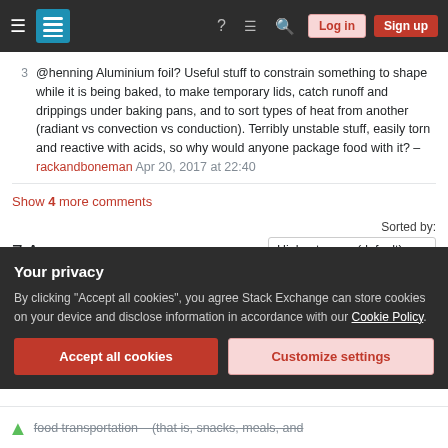Stack Exchange navigation bar with hamburger menu, logo, help, chat, search icons, Log in and Sign up buttons
@henning Aluminium foil? Useful stuff to constrain something to shape while it is being baked, to make temporary lids, catch runoff and drippings under baking pans, and to sort types of heat from another (radiant vs convection vs conduction). Terribly unstable stuff, easily torn and reactive with acids, so why would anyone package food with it? – rackandboneman Apr 20, 2017 at 22:40
Show 4 more comments
7 Answers
Sorted by: Highest score (default)
Your privacy
By clicking "Accept all cookies", you agree Stack Exchange can store cookies on your device and disclose information in accordance with our Cookie Policy.
Accept all cookies  Customize settings
food transportation – (that is, snacks, meals, and stored food) in the middle...